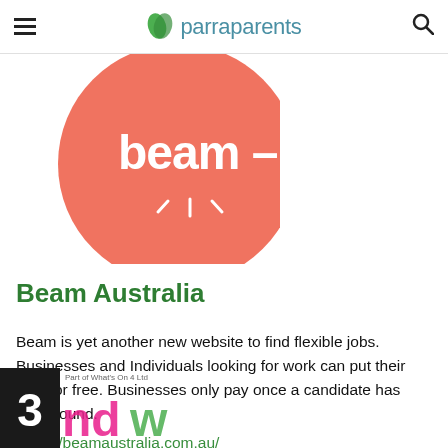parraparents
[Figure (logo): Beam Australia logo — salmon/coral circle with white 'beam –' text and a light-burst icon]
Beam Australia
Beam is yet another new website to find flexible jobs. Businesses and Individuals looking for work can put their post for free. Businesses only pay once a candidate has been found. https://beamaustralia.com.au/
[Figure (logo): andwe – Part of What's On 4 Ltd logo with colourful lettering and number 3]